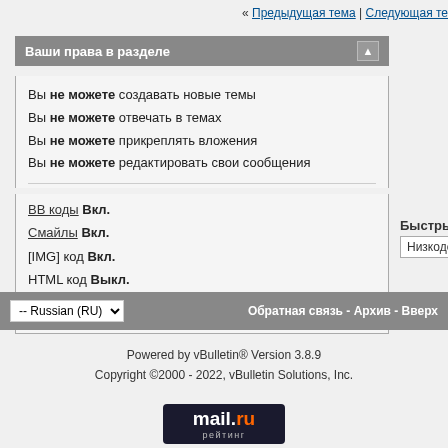« Предыдущая тема | Следующая те
Ваши права в разделе
Вы не можете создавать новые темы
Вы не можете отвечать в темах
Вы не можете прикреплять вложения
Вы не можете редактировать свои сообщения
BB коды Вкл.
Смайлы Вкл.
[IMG] код Вкл.
HTML код Выкл.
Правила форума
Быстрый переход
Низкодоходные HYIP до 20% в м
-- Russian (RU)
Обратная связь - Архив - Вверх
Powered by vBulletin® Version 3.8.9
Copyright ©2000 - 2022, vBulletin Solutions, Inc.
[Figure (logo): mail.ru рейтинг badge]